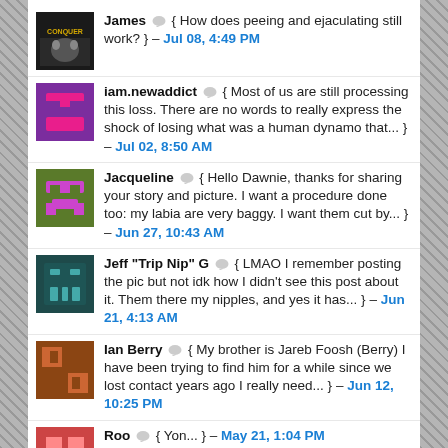James { How does peeing and ejaculating still work? } – Jul 08, 4:49 PM
iam.newaddict { Most of us are still processing this loss. There are no words to really express the shock of losing what was a human dynamo that... } – Jul 02, 8:50 AM
Jacqueline { Hello Dawnie, thanks for sharing your story and picture. I want a procedure done too: my labia are very baggy. I want them cut by... } – Jun 27, 10:43 AM
Jeff "Trip Nip" G { LMAO I remember posting the pic but not idk how I didn't see this post about it. Them there my nipples, and yes it has... } – Jun 21, 4:13 AM
Ian Berry { My brother is Jareb Foosh (Berry) I have been trying to find him for a while since we lost contact years ago I really need... } – Jun 12, 10:25 PM
Roo { Yon... } – May 21, 1:04 PM